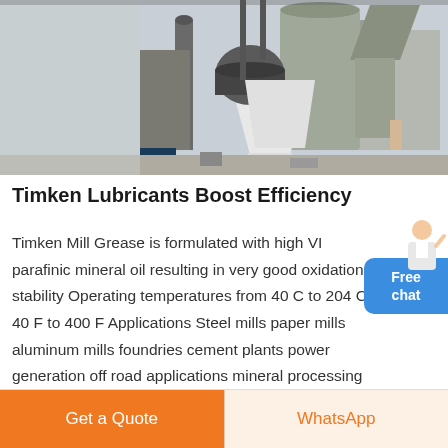[Figure (photo): Industrial machinery — cement or mineral mill plant with large silos, conveyor systems, dust collection equipment, and industrial buildings in background]
Timken Lubricants Boost Efficiency
Timken Mill Grease is formulated with high VI parafinic mineral oil resulting in very good oxidation stability Operating temperatures from 40 C to 204 C 40 F to 400 F Applications Steel mills paper mills aluminum mills foundries cement plants power generation off road applications mineral processing